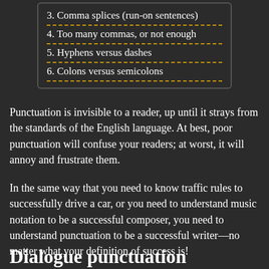3. Comma splices (run-on sentences)
4. Too many commas, or not enough
5. Hyphens versus dashes
6. Colons versus semicolons
Punctuation is invisible to a reader, up until it strays from the standards of the English language. At best, poor punctuation will confuse your readers; at worst, it will annoy and frustrate them.
In the same way that you need to know traffic rules to successfully drive a car, or you need to understand music notation to be a successful composer, you need to understand punctuation to be a successful writer—no matter what your definition of success is!
Dialogue punctuation